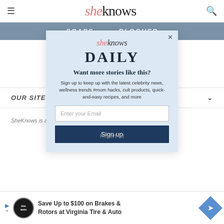sheknows
SOAPS   BLOGHER
[Figure (screenshot): SheKnows Daily email signup modal popup with logo, headline 'Want more stories like this?', subtext about celebrity news, email input field, and Sign up button]
OUR SITES
SheKnows is a pa... lia, LLC. All Rights
Report ad
[Figure (infographic): Advertisement banner: Save Up to $100 on Brakes & Rotors at Virginia Tire & Auto]